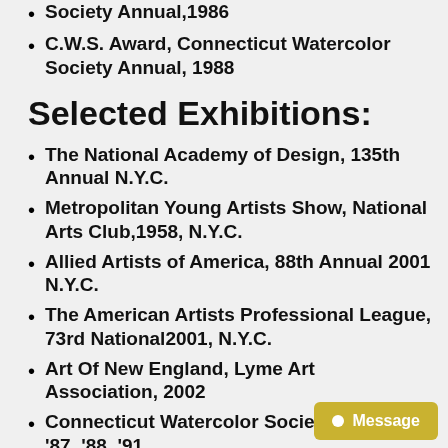Society Annual,1986
C.W.S. Award, Connecticut Watercolor Society Annual, 1988
Selected Exhibitions:
The National Academy of Design, 135th Annual N.Y.C.
Metropolitan Young Artists Show, National Arts Club,1958, N.Y.C.
Allied Artists of America, 88th Annual 2001 N.Y.C.
The American Artists Professional League, 73rd National2001, N.Y.C.
Art Of New England, Lyme Art Association, 2002
Connecticut Watercolor Society, 1985 '86, '87, '88, '91